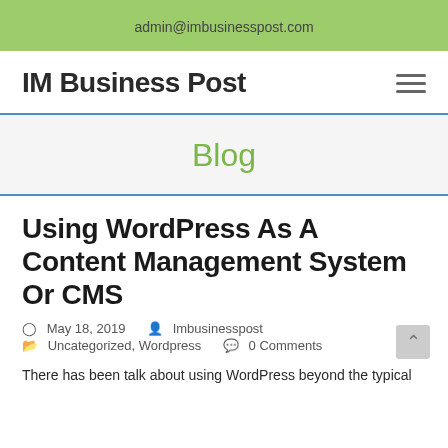admin@imbusinesspost.com
IM Business Post
Blog
Using WordPress As A Content Management System Or CMS
May 18, 2019   Imbusinesspost   Uncategorized, Wordpress   0 Comments
There has been talk about using WordPress beyond the typical